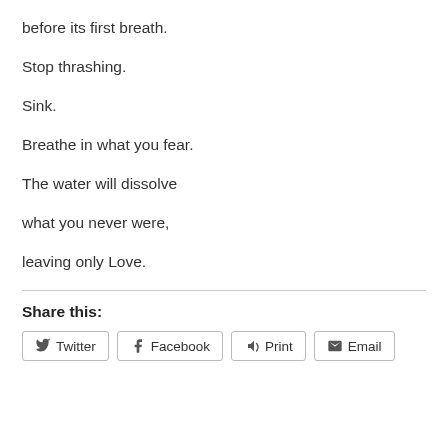before its first breath.
Stop thrashing.
Sink.
Breathe in what you fear.
The water will dissolve
what you never were,
leaving only Love.
Share this:
Twitter | Facebook | Print | Email